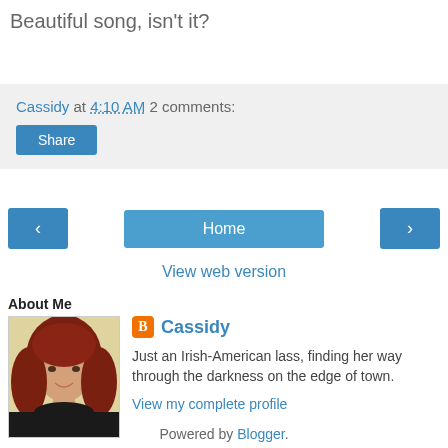Beautiful song, isn't it?
Cassidy at 4:10 AM    2 comments:
Share
‹    Home    ›
View web version
About Me
[Figure (photo): Profile photo of a woman with red curly hair wearing a black top]
Cassidy
Just an Irish-American lass, finding her way through the darkness on the edge of town.
View my complete profile
Powered by Blogger.